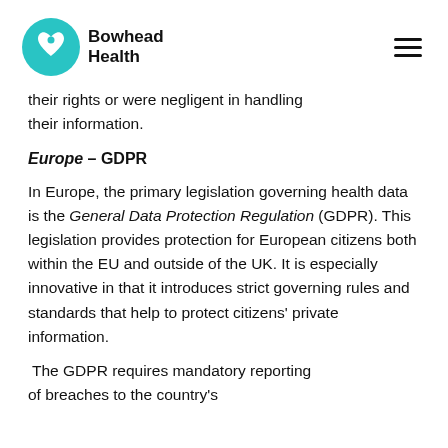Bowhead Health
their rights or were negligent in handling their information.
Europe – GDPR
In Europe, the primary legislation governing health data is the General Data Protection Regulation (GDPR). This legislation provides protection for European citizens both within the EU and outside of the UK. It is especially innovative in that it introduces strict governing rules and standards that help to protect citizens' private information.
The GDPR requires mandatory reporting of breaches to the country's